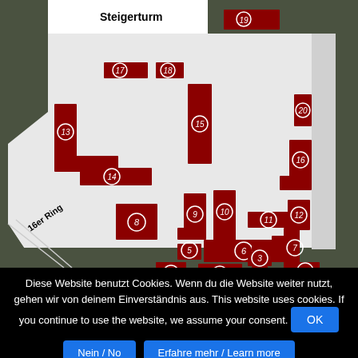[Figure (map): Campus map showing numbered buildings (1-20) in dark red on a grey campus area. Streets labeled: Steigerturm (top), Sandstraße (right, vertical), 16er Ring (left, diagonal). Buildings numbered 1-20 positioned across the campus.]
Diese Website benutzt Cookies. Wenn du die Website weiter nutzt, gehen wir von deinem Einverständnis aus. This website uses cookies. If you continue to use the website, we assume your consent.